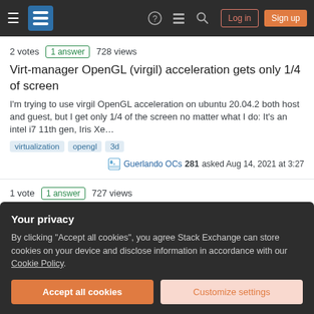Stack Exchange navigation bar with hamburger menu, logo, help, chat, search icons, Log in and Sign up buttons
2 votes  1 answer  728 views
Virt-manager OpenGL (virgil) acceleration gets only 1/4 of screen
I'm trying to use virgil OpenGL acceleration on ubuntu 20.04.2 both host and guest, but I get only 1/4 of the screen no matter what I do: It's an intel i7 11th gen, Iris Xe...
virtualization
opengl
3d
Guerlando OCs 281 asked Aug 14, 2021 at 3:27
1 vote  1 answer  727 views
How to convert .obj or .stl files to .mesh?
How to convert .obj or .stl files (or another CAD format) to .mesh? I tried using:
Your privacy
By clicking "Accept all cookies", you agree Stack Exchange can store cookies on your device and disclose information in accordance with our Cookie Policy.
Accept all cookies
Customize settings
I'm trying to install ogre-meshviewer, but I get the following error: (base) some@some:$ sudo snap install ogre-meshviewer snap "ogre-meshviewer" is